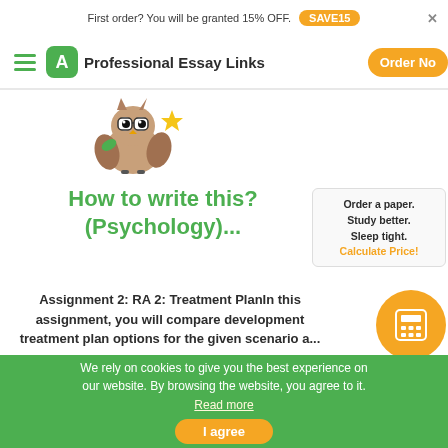First order? You will be granted 15% OFF. SAVE15
Professional Essay Links  Order Now
[Figure (illustration): Cartoon owl wearing glasses and holding a gold star]
How to write this? (Psychology)...
Order a paper. Study better. Sleep tight. Calculate Price!
Assignment 2: RA 2: Treatment PlanIn this assignment, you will compare developmental treatment plan options for the given scenario a...
We rely on cookies to give you the best experience on our website. By browsing the website, you agree to it. Read more
I agree